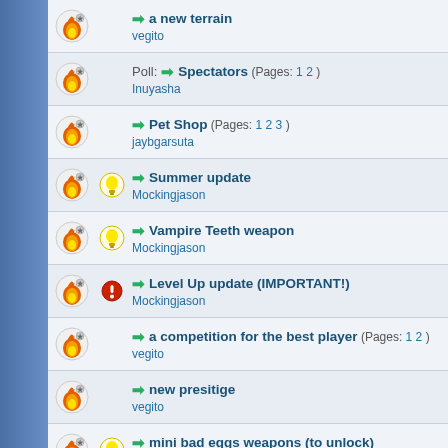a new terrain — vegito
Poll: Spectators (Pages: 1 2) — Inuyasha
Pet Shop (Pages: 1 2 3) — jaybgarsuta
Summer update — Mockingjason
Vampire Teeth weapon — Mockingjason
Level Up update (IMPORTANT!) — Mockingjason
a competition for the best player (Pages: 1 2) — vegito
new presitige — vegito
mini bad eggs weapons (to unlock) — wonderfulness
get out — vegito